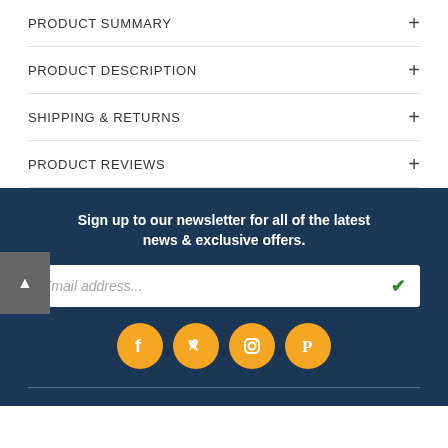PRODUCT SUMMARY
PRODUCT DESCRIPTION
SHIPPING & RETURNS
PRODUCT REVIEWS
Sign up to our newsletter for all of the latest news & exclusive offers.
Email address...
[Figure (illustration): Social media icons: Facebook, Twitter, Instagram, Pinterest on orange circular backgrounds]